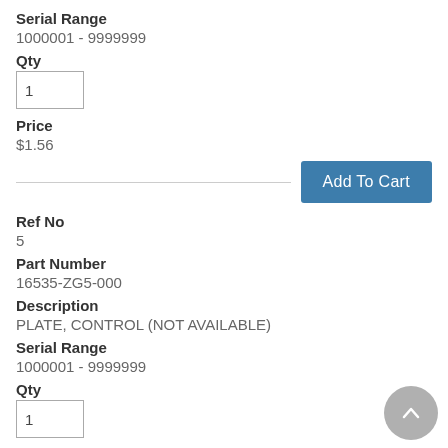Serial Range
1000001 - 9999999
Qty
1
Price
$1.56
Add To Cart
Ref No
5
Part Number
16535-ZG5-000
Description
PLATE, CONTROL (NOT AVAILABLE)
Serial Range
1000001 - 9999999
Qty
1
Price
$4.62